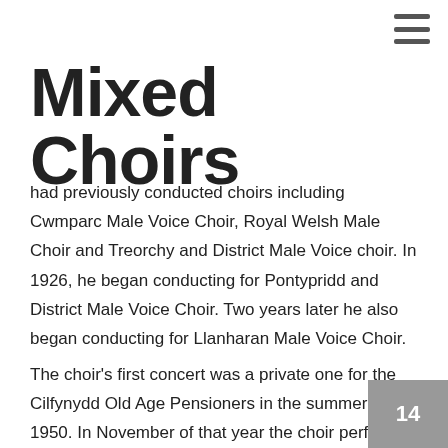Mixed Choirs
had previously conducted choirs including Cwmparc Male Voice Choir, Royal Welsh Male Choir and Treorchy and District Male Voice choir. In 1926, he began conducting for Pontypridd and District Male Voice Choir. Two years later he also began conducting for Llanharan Male Voice Choir.
The choir's first concert was a private one for the Cilfynydd Old Age Pensioners in the summer of 1950. In November of that year the choir performed in the Shelley Hall at their first annual concert. A month later the choir gave the first of its 14 consecutive Christmas night concerts at the old Graig